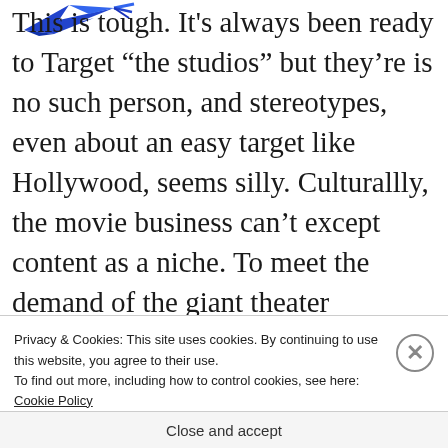[Figure (logo): Blue arrow/bird logo icon in upper left]
This is tough. It's always been ready to Target “the studios” but they’re is no such person, and stereotypes, even about an easy target like Hollywood, seems silly. Culturallly, the movie business can’t except content as a niche. To meet the demand of the giant theater audience: they try broadest common denominator films
Privacy & Cookies: This site uses cookies. By continuing to use this website, you agree to their use.
To find out more, including how to control cookies, see here:
Cookie Policy
Close and accept